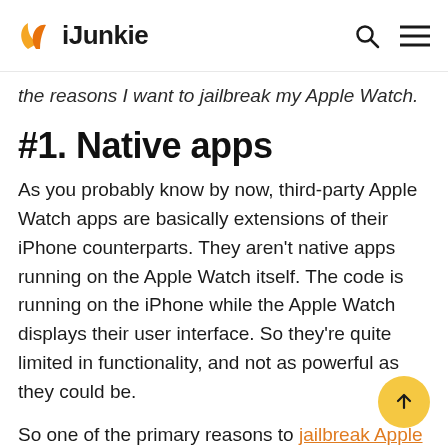iJunkie
the reasons I want to jailbreak my Apple Watch.
#1. Native apps
As you probably know by now, third-party Apple Watch apps are basically extensions of their iPhone counterparts. They aren't native apps running on the Apple Watch itself. The code is running on the iPhone while the Apple Watch displays their user interface. So they're quite limited in functionality, and not as powerful as they could be.
So one of the primary reasons to jailbreak Apple Watch is to be able to install native apps